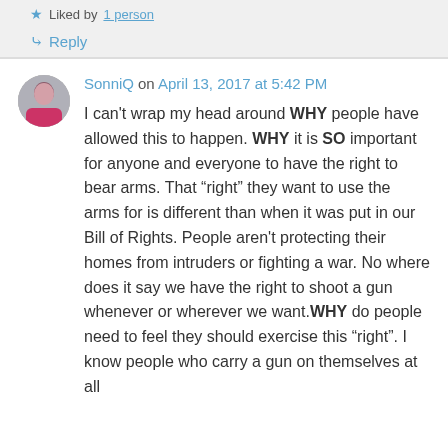Liked by 1 person
Reply
SonniQ on April 13, 2017 at 5:42 PM
I can't wrap my head around WHY people have allowed this to happen. WHY it is SO important for anyone and everyone to have the right to bear arms. That “right” they want to use the arms for is different than when it was put in our Bill of Rights. People aren't protecting their homes from intruders or fighting a war. No where does it say we have the right to shoot a gun whenever or wherever we want.WHY do people need to feel they should exercise this “right”. I know people who carry a gun on themselves at all